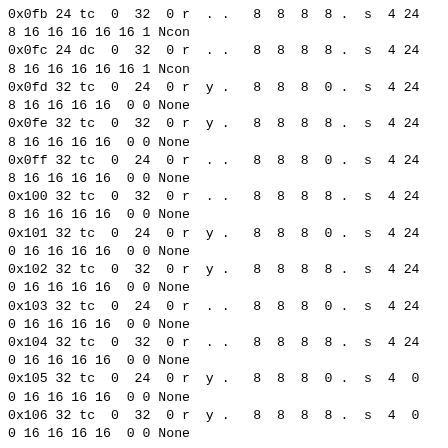0x0fb 24 tc  0  32  0 r  . .   8  8  8  8 .  s  4 24
8 16 16 16 16 16 1 Ncon
0x0fc 24 dc  0  32  0 r  . .   8  8  8  8 .  s  4 24
8 16 16 16 16 16 1 Ncon
0x0fd 32 tc  0  24  0 r  y .   8  8  8  0 .  s  4 24
8 16 16 16 16  0 0 None
0x0fe 32 tc  0  32  0 r  y .   8  8  8  8 .  s  4 24
8 16 16 16 16  0 0 None
0x0ff 32 tc  0  24  0 r  . .   8  8  8  0 .  s  4 24
8 16 16 16 16  0 0 None
0x100 32 tc  0  32  0 r  . .   8  8  8  8 .  s  4 24
8 16 16 16 16  0 0 None
0x101 32 tc  0  24  0 r  y .   8  8  8  0 .  s  4 24
0 16 16 16 16  0 0 None
0x102 32 tc  0  32  0 r  y .   8  8  8  8 .  s  4 24
0 16 16 16 16  0 0 None
0x103 32 tc  0  24  0 r  . .   8  8  8  0 .  s  4 24
0 16 16 16 16  0 0 None
0x104 32 tc  0  32  0 r  . .   8  8  8  8 .  s  4 24
0 16 16 16 16  0 0 None
0x105 32 tc  0  24  0 r  y .   8  8  8  0 .  s  4  0
0 16 16 16 16  0 0 None
0x106 32 tc  0  32  0 r  y .   8  8  8  8 .  s  4  0
0 16 16 16 16  0 0 None